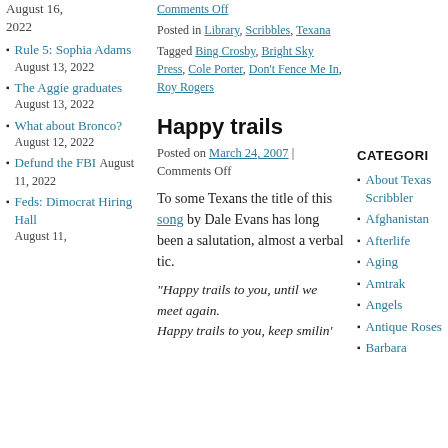August 16, 2022
Comments Off
Posted in Library, Scribbles, Texana
Tagged Bing Crosby, Bright Sky Press, Cole Porter, Don't Fence Me In, Roy Rogers
Rule 5: Sophia Adams August 13, 2022
The Aggie graduates August 13, 2022
What about Bronco? August 12, 2022
Defund the FBI August 11, 2022
Feds: Dimocrat Hiring Hall August 11,
Happy trails
Posted on March 24, 2007 | Comments Off
To some Texans the title of this song by Dale Evans has long been a salutation, almost a verbal tic.
"Happy trails to you, until we meet again. Happy trails to you, keep smilin'
CATEGORI
About Texas Scribbler
Afghanistan
Afterlife
Aging
Amtrak
Angels
Antique Roses
Barbara